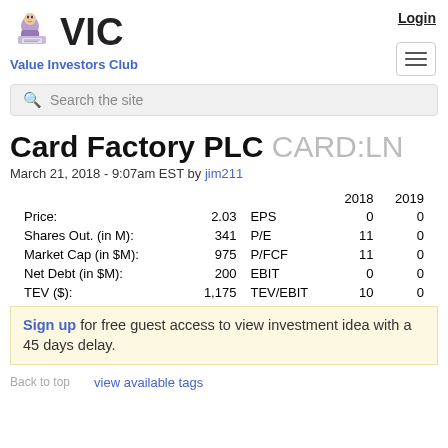VIC - Value Investors Club
Login
Search the site
Card Factory PLC CARD:LN
March 21, 2018 - 9:07am EST by jim211
|  |  |  | 2018 | 2019 |
| --- | --- | --- | --- | --- |
| Price: | 2.03 | EPS | 0 | 0 |
| Shares Out. (in M): | 341 | P/E | 11 | 0 |
| Market Cap (in $M): | 975 | P/FCF | 11 | 0 |
| Net Debt (in $M): | 200 | EBIT | 0 | 0 |
| TEV ($): | 1,175 | TEV/EBIT | 10 | 0 |
Sign up for free guest access to view investment idea with a 45 days delay.
Back to top   view available tags